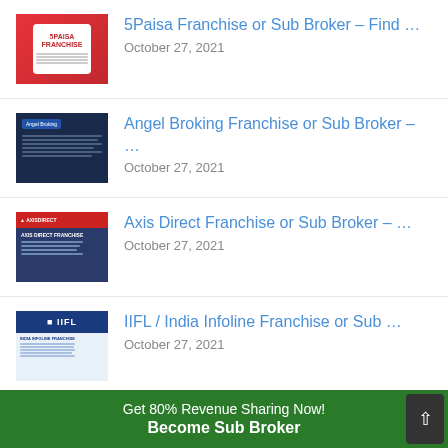5Paisa Franchise or Sub Broker – Find … October 27, 2021
Angel Broking Franchise or Sub Broker – … October 27, 2021
Axis Direct Franchise or Sub Broker – … October 27, 2021
IIFL / India Infoline Franchise or Sub … October 27, 2021
SBICap Securities Franchise
Get 80% Revenue Sharing Now! Become Sub Broker